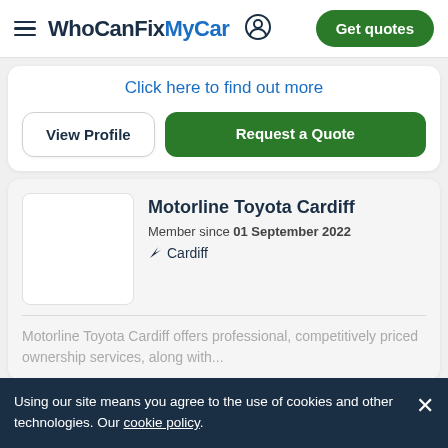WhoCanFixMyCar — Get quotes
Click here to find out more
View Profile
Request a Quote
Motorline Toyota Cardiff
Member since 01 September 2022
Cardiff
Motorline Toyota Cardiff offers professional, competitively priced ownership services, along with...
Using our site means you agree to the use of cookies and other technologies. Our cookie policy.